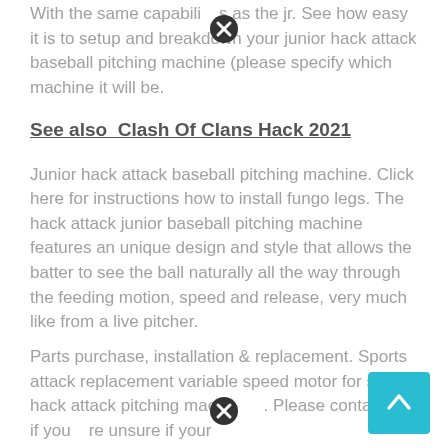With the same capabilities as the jr. See how easy it is to setup and breakdown your junior hack attack baseball pitching machine (please specify which machine it will be.
See also  Clash Of Clans Hack 2021
Junior hack attack baseball pitching machine. Click here for instructions how to install fungo legs. The hack attack junior baseball pitching machine features an unique design and style that allows the batter to see the ball naturally all the way through the feeding motion, speed and release, very much like from a live pitcher.
Parts purchase, installation & replacement. Sports attack replacement variable speed motor for senior hack attack pitching mach... Please contact us if you are unsure if your